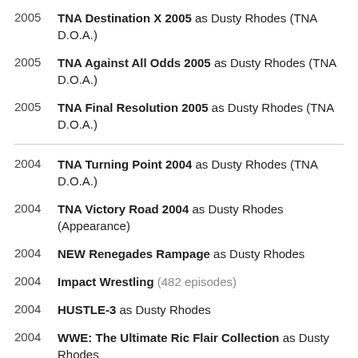2005 TNA Destination X 2005 as Dusty Rhodes (TNA D.O.A.)
2005 TNA Against All Odds 2005 as Dusty Rhodes (TNA D.O.A.)
2005 TNA Final Resolution 2005 as Dusty Rhodes (TNA D.O.A.)
2004 TNA Turning Point 2004 as Dusty Rhodes (TNA D.O.A.)
2004 TNA Victory Road 2004 as Dusty Rhodes (Appearance)
2004 NEW Renegades Rampage as Dusty Rhodes
2004 Impact Wrestling (482 episodes)
2004 HUSTLE-3 as Dusty Rhodes
2004 WWE: The Ultimate Ric Flair Collection as Dusty Rhodes